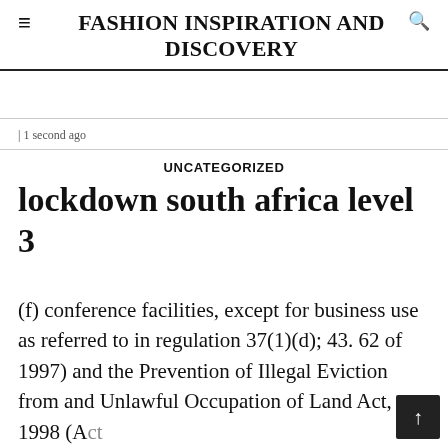≡ FASHION INSPIRATION AND DISCOVERY
| 1 second ago
UNCATEGORIZED
lockdown south africa level 3
(f) conference facilities, except for business use as referred to in regulation 37(1)(d); 43. 62 of 1997) and the Prevention of Illegal Eviction from and Unlawful Occupation of Land Act, 1998 (Act No. 19 of 1998) and any other law on the the...